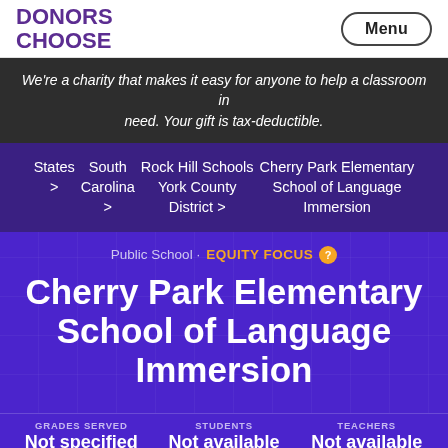DONORS CHOOSE
We're a charity that makes it easy for anyone to help a classroom in need. Your gift is tax-deductible.
States > South Carolina > Rock Hill Schools York County District > Cherry Park Elementary School of Language Immersion
Public School · EQUITY FOCUS
Cherry Park Elementary School of Language Immersion
GRADES SERVED   STUDENTS   TEACHERS
Not specified   Not available   Not available